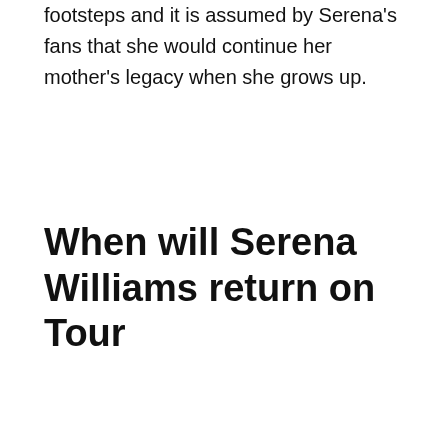footsteps and it is assumed by Serena's fans that she would continue her mother's legacy when she grows up.
When will Serena Williams return on Tour